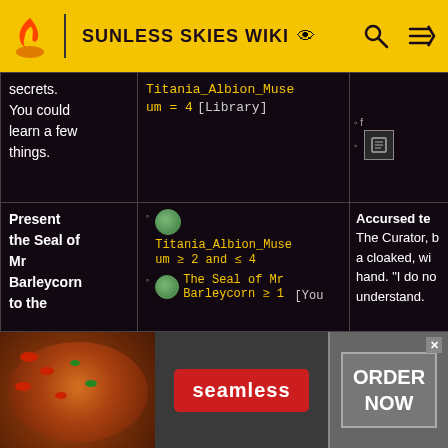SUNLESS SKIES WIKI
| Action | Conditions | Result |
| --- | --- | --- |
| secrets. You could learn a few things. | Titania_Albion_Museum = 4 [Library] |  |
| Present the Seal of Mr Barleycorn to the | Titania_Albion_Museum ≥ 2 and ≤ 4 | The Seal of Mr Barleycorn ≥ 1 [You | Accursed te The Curator, b a cloaked, wi hand. "I do no understand. |
[Figure (screenshot): Seamless food delivery advertisement banner at bottom of page with pizza image, red Seamless button, and ORDER NOW button]